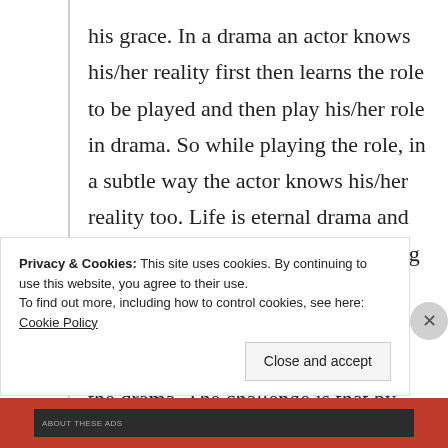his grace. In a drama an actor knows his/her reality first then learns the role to be played and then play his/her role in drama. So while playing the role, in a subtle way the actor knows his/her reality too. Life is eternal drama and we take birth in it, so we start playing our role and assume that it is our reality also. But Jesus said that it is not your reality but only your role in the drama. The challenge is that by being born and raised in the drama, you need to come out of it to know your reality but actually
Privacy & Cookies: This site uses cookies. By continuing to use this website, you agree to their use.
To find out more, including how to control cookies, see here: Cookie Policy